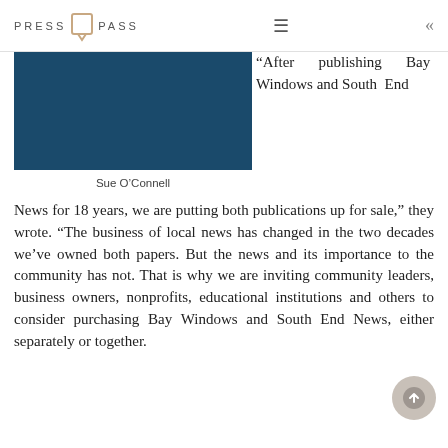PRESS PASS
[Figure (photo): Photo of Sue O'Connell cropped to show shoulders and head area with dark navy blue clothing]
Sue O'Connell
“After publishing Bay Windows and South End News for 18 years, we are putting both publications up for sale,” they wrote. “The business of local news has changed in the two decades we’ve owned both papers. But the news and its importance to the community has not. That is why we are inviting community leaders, business owners, nonprofits, educational institutions and others to consider purchasing Bay Windows and South End News, either separately or together.